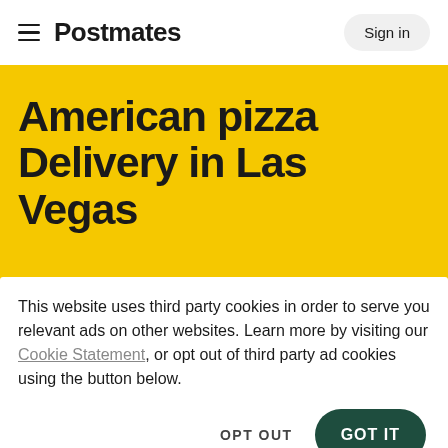≡ Postmates  Sign in
American pizza Delivery in Las Vegas
This website uses third party cookies in order to serve you relevant ads on other websites. Learn more by visiting our Cookie Statement, or opt out of third party ad cookies using the button below.
OPT OUT   GOT IT